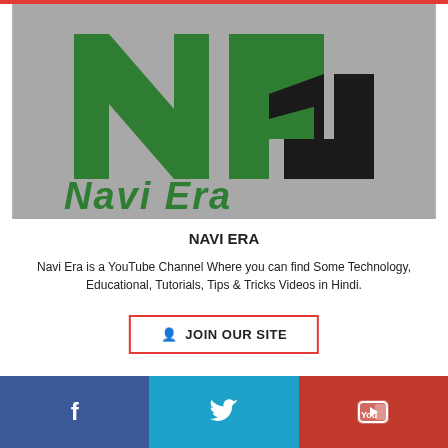[Figure (logo): Navi Era YouTube channel logo with green and black NC letters on gray background, with 'Navi Era' text partially visible at bottom]
NAVI ERA
Navi Era is a YouTube Channel Where you can find Some Technology, Educational, Tutorials, Tips & Tricks Videos in Hindi.
JOIN OUR SITE
[Figure (infographic): Social media share buttons row: Facebook (blue), Twitter (cyan), YouTube (red)]